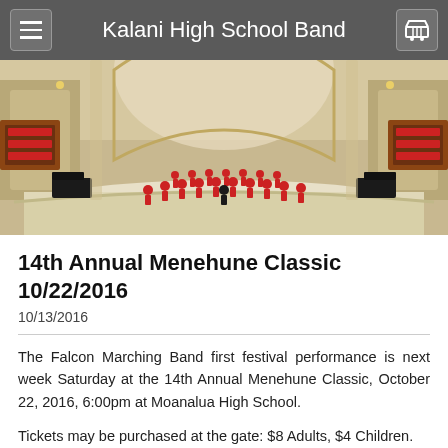Kalani High School Band
[Figure (photo): Concert hall interior with band performing on stage, ornate golden walls, balcony seating visible]
14th Annual Menehune Classic 10/22/2016
10/13/2016
The Falcon Marching Band first festival performance is next week Saturday at the 14th Annual Menehune Classic, October 22, 2016, 6:00pm at Moanalua High School.
Tickets may be purchased at the gate: $8 Adults, $4 Children.
Updated order of appearance: